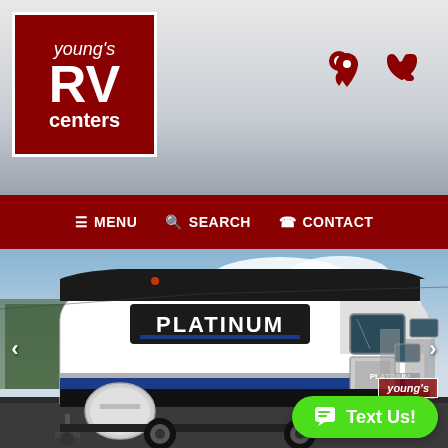[Figure (logo): Young's RV Centers logo — dark red square with white border, text 'young's RV centers' in white]
[Figure (infographic): Location pin icon and phone icon in dark red on light gray header background]
☰ MENU  🔍 SEARCH  ☎ CONTACT
[Figure (photo): Exterior photo of a white Platinum travel trailer RV parked in a lot with blue sky and clouds in background]
Text Us!